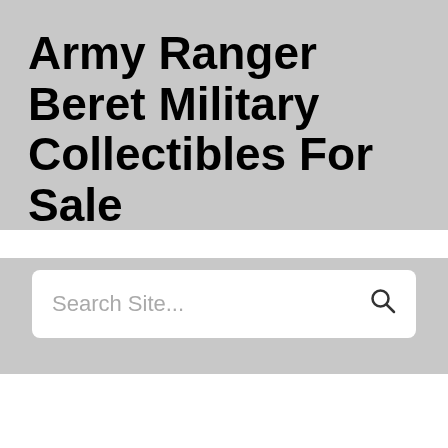Army Ranger Beret Military Collectibles For Sale
Search Site...
Army Ranger